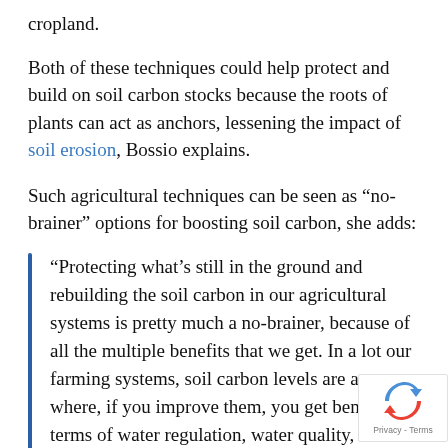cropland.
Both of these techniques could help protect and build on soil carbon stocks because the roots of plants can act as anchors, lessening the impact of soil erosion, Bossio explains.
Such agricultural techniques can be seen as “no-brainer” options for boosting soil carbon, she adds:
“Protecting what’s still in the ground and rebuilding the soil carbon in our agricultural systems is pretty much a no-brainer, because of all the multiple benefits that we get. In a lot our farming systems, soil carbon levels are at state where, if you improve them, you get benefits in terms of water regulation, water quality, stabilising production and resilience in